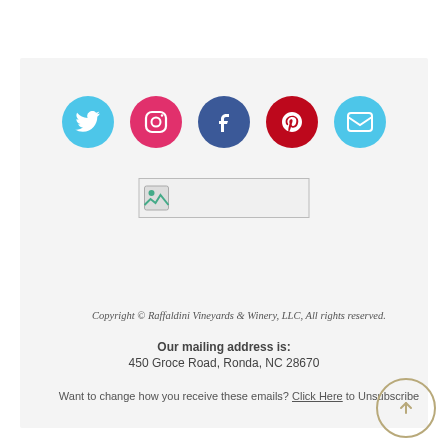[Figure (infographic): Social media icons row: Twitter (cyan), Instagram (pink/red), Facebook (dark blue), Pinterest (red), Email (cyan), all circular]
[Figure (photo): Small image placeholder with broken image icon inside a rectangular border]
Copyright © Raffaldini Vineyards & Winery, LLC, All rights reserved.
Our mailing address is:
450 Groce Road, Ronda, NC 28670
Want to change how you receive these emails? Click Here to Unsubscribe